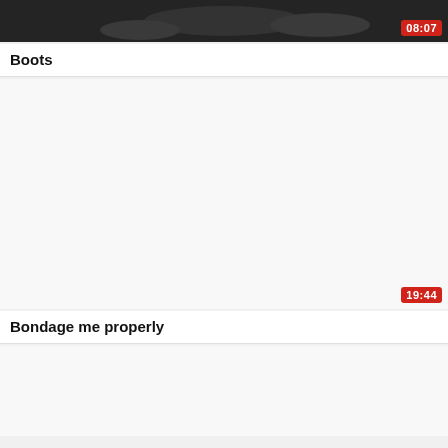[Figure (screenshot): Video thumbnail showing dark image with boots, duration badge showing 08:07 in red]
Boots
[Figure (screenshot): Video thumbnail, mostly white/blank, duration badge showing 19:44 in red]
Bondage me properly
[Figure (screenshot): Video thumbnail, mostly white/blank, partially visible at bottom]